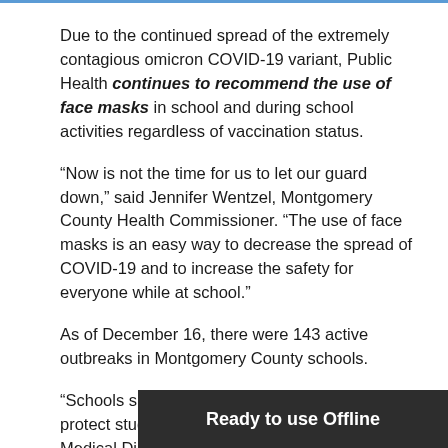Due to the continued spread of the extremely contagious omicron COVID-19 variant, Public Health continues to recommend the use of face masks in school and during school activities regardless of vaccination status.
“Now is not the time for us to let our guard down,” said Jennifer Wentzel, Montgomery County Health Commissioner. “The use of face masks is an easy way to decrease the spread of COVID-19 and to increase the safety for everyone while at school.”
As of December 16, there were 143 active outbreaks in Montgomery County schools.
“Schools should do everything they can to help protect students, faculty and staff,” said D… Medical Director, Public Health - Dayton &